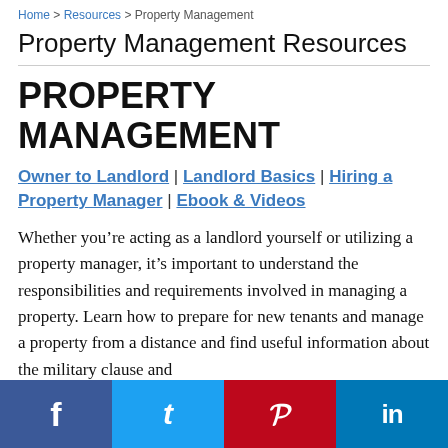Home > Resources > Property Management
Property Management Resources
PROPERTY MANAGEMENT
Owner to Landlord | Landlord Basics | Hiring a Property Manager | Ebook & Videos
Whether you’re acting as a landlord yourself or utilizing a property manager, it’s important to understand the responsibilities and requirements involved in managing a property. Learn how to prepare for new tenants and manage a property from a distance and find useful information about the military clause and
f  t  p  in